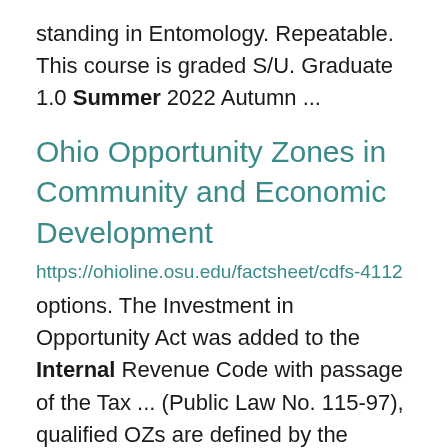standing in Entomology. Repeatable. This course is graded S/U. Graduate 1.0 Summer 2022 Autumn ...
Ohio Opportunity Zones in Community and Economic Development
https://ohioline.osu.edu/factsheet/cdfs-4112 options. The Investment in Opportunity Act was added to the Internal Revenue Code with passage of the Tax ... (Public Law No. 115-97), qualified OZs are defined by the Internal Revenue Code (Internal Revenue Service ... 45D(e) of the